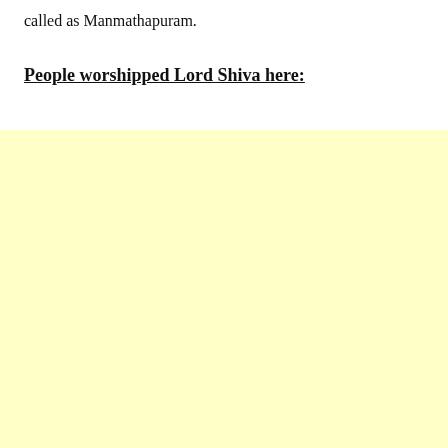called as Manmathapuram.
People worshipped Lord Shiva here: